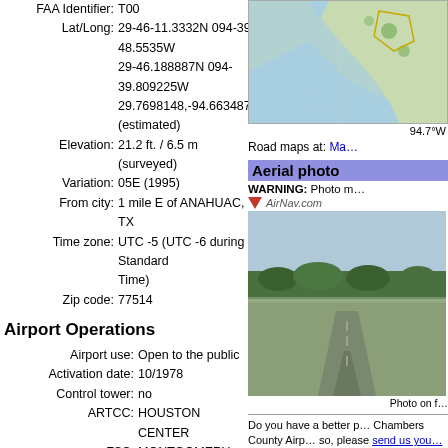FAA Identifier: T00
Lat/Long: 29-46-11.3332N 094-39-48.5535W
29-46.188887N 094-39.809225W
29.7698148,-94.6634871
(estimated)
Elevation: 21.2 ft. / 6.5 m (surveyed)
Variation: 05E (1995)
From city: 1 mile E of ANAHUAC, TX
Time zone: UTC -5 (UTC -6 during Standard Time)
Zip code: 77514
Airport Operations
Airport use: Open to the public
Activation date: 10/1978
Control tower: no
ARTCC: HOUSTON CENTER
FSS: MONTGOMERY COUNTY FLIGHT SERVICE STATION
NOTAMs facility: CXO (NOTAM-D service available)
Attendance: MON-FRI 0800-1700
Wind indicator: lighted
Segmented circle: yes
[Figure (map): Aeronautical map showing Chambers County Airport area near Anahuac, TX with water bodies and coastline]
94.7°W
Road maps at: Ma…
Aerial photo
WARNING: Photo m…
[Figure (photo): Aerial photograph of Chambers County Airport showing runway and surrounding landscape]
Photo on f…
Do you have a better photo of Chambers County Airport? If so, please send us you…